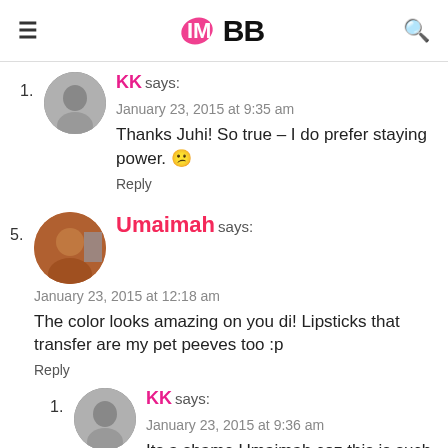IMBB
1. KK says: January 23, 2015 at 9:35 am
Thanks Juhi! So true – I do prefer staying power. 🙁
Reply
5. Umaimah says: January 23, 2015 at 12:18 am
The color looks amazing on you di! Lipsticks that transfer are my pet peeves too :p
Reply
1. KK says: January 23, 2015 at 9:36 am
Its a shame Umaimah coz this is such a